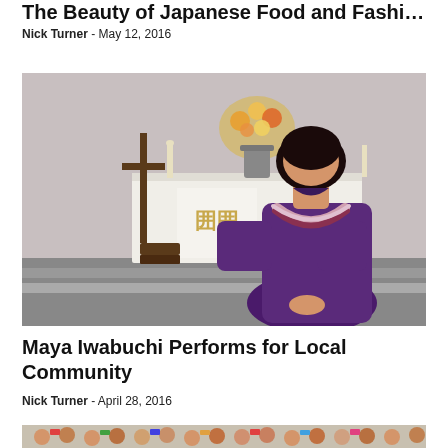The Beauty of Japanese Food and Fashion
Nick Turner  -  May 12, 2016
[Figure (photo): Woman in purple dress wearing a lei standing in front of a church altar with flowers]
Maya Iwabuchi Performs for Local Community
Nick Turner  -  April 28, 2016
[Figure (photo): Partial view of a crowd photo at the bottom of the page]